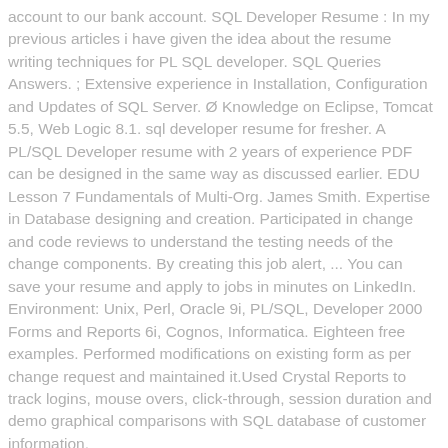account to our bank account. SQL Developer Resume : In my previous articles i have given the idea about the resume writing techniques for PL SQL developer. SQL Queries Answers. ; Extensive experience in Installation, Configuration and Updates of SQL Server. Ø Knowledge on Eclipse, Tomcat 5.5, Web Logic 8.1. sql developer resume for fresher. A PL/SQL Developer resume with 2 years of experience PDF can be designed in the same way as discussed earlier. EDU Lesson 7 Fundamentals of Multi-Org. James Smith. Expertise in Database designing and creation. Participated in change and code reviews to understand the testing needs of the change components. By creating this job alert, ... You can save your resume and apply to jobs in minutes on LinkedIn. Environment: Unix, Perl, Oracle 9i, PL/SQL, Developer 2000 Forms and Reports 6i, Cognos, Informatica. Eighteen free examples. Performed modifications on existing form as per change request and maintained it.Used Crystal Reports to track logins, mouse overs, click-through, session duration and demo graphical comparisons with SQL database of customer information.